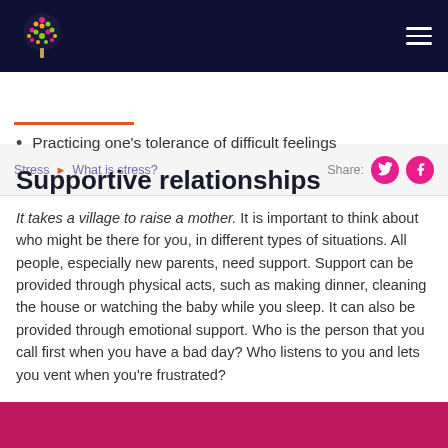Website header with tree logo and hamburger menu
Stress ▶ What is stress? | Share: [Twitter] [Facebook]
Practicing one's tolerance of difficult feelings
Supportive relationships
It takes a village to raise a mother. It is important to think about who might be there for you, in different types of situations. All people, especially new parents, need support. Support can be provided through physical acts, such as making dinner, cleaning the house or watching the baby while you sleep. It can also be provided through emotional support. Who is the person that you call first when you have a bad day? Who listens to you and lets you vent when you're frustrated?
[Figure (photo): Pink/magenta colored image strip at the bottom of the page, partially visible]